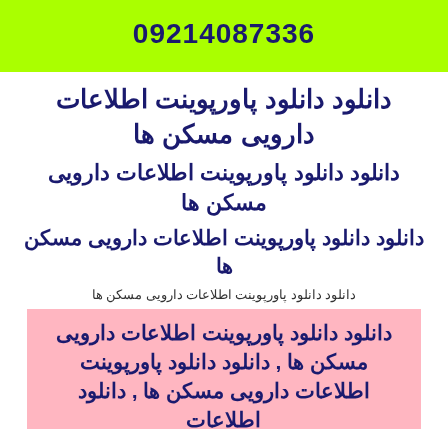09214087336
دانلود دانلود پاورپوینت اطلاعات دارویی مسکن ها
دانلود دانلود پاورپوینت اطلاعات دارویی مسکن ها
دانلود دانلود پاورپوینت اطلاعات دارویی مسکن ها
دانلود دانلود پاورپوینت اطلاعات دارویی مسکن ها
دانلود دانلود پاورپوینت اطلاعات دارویی مسکن ها , دانلود دانلود پاورپوینت اطلاعات دارویی مسکن ها , دانلود اطلاعات